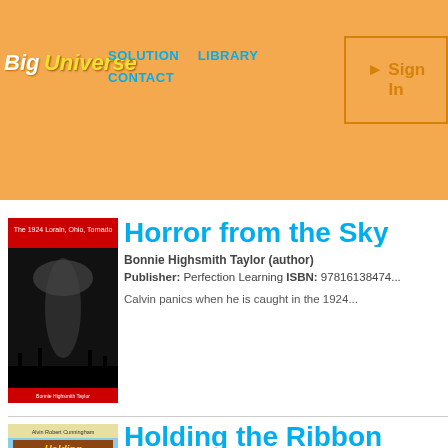Big Universe | SOLUTION  LIBRARY  CONTACT | Sign In
[Figure (screenshot): Big Universe website header with orange background, logo, navigation links (SOLUTION, LIBRARY, CONTACT), and Sign In button]
[Figure (photo): Book cover: Horror from the Sky - The 1924 Lorain, Ohio, Tornado - shows black and white tornado photograph]
Horror from the Sky
Bonnie Highsmith Taylor (author)
Publisher: Perfection Learning ISBN: 9781613847...
Calvin panics when he is caught in the 1924...
[Figure (photo): Book cover: Holding the Ribbons - The Story of the Overland Stagecoach by Alvin Robert Cunningham - shows western scene with stagecoach]
Holding the Ribbons Stagecoach
Alvin Robert Cunningham (author)
Publisher: Perfection Learning ISBN: 9781613847...